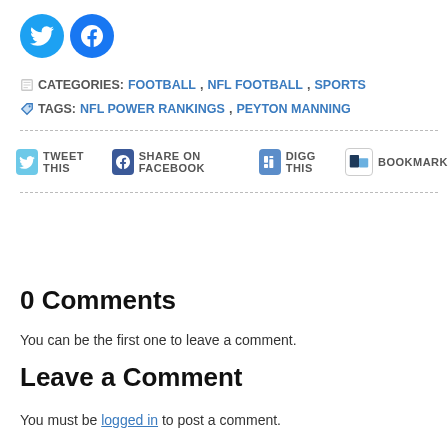[Figure (other): Twitter and Facebook social share circular icon buttons]
CATEGORIES: FOOTBALL, NFL FOOTBALL, SPORTS
TAGS: NFL POWER RANKINGS, PEYTON MANNING
TWEET THIS   SHARE ON FACEBOOK   DIGG THIS   BOOKMARK
0 Comments
You can be the first one to leave a comment.
Leave a Comment
You must be logged in to post a comment.